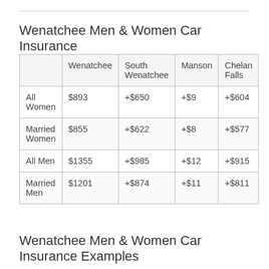Wenatchee Men & Women Car Insurance
|  | Wenatchee | South Wenatchee | Manson | Chelan Falls |
| --- | --- | --- | --- | --- |
| All Women | $893 | +$650 | +$9 | +$604 |
| Married Women | $855 | +$622 | +$8 | +$577 |
| All Men | $1355 | +$985 | +$12 | +$915 |
| Married Men | $1201 | +$874 | +$11 | +$811 |
Wenatchee Men & Women Car Insurance Examples